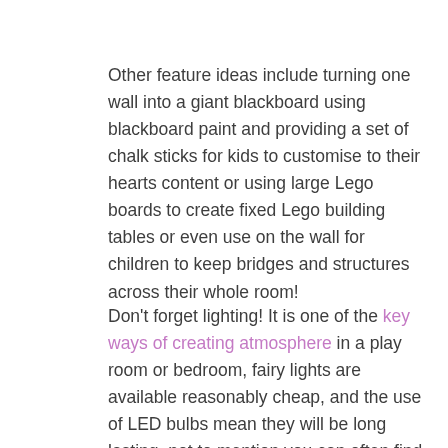Other feature ideas include turning one wall into a giant blackboard using blackboard paint and providing a set of chalk sticks for kids to customise to their hearts content or using large Lego boards to create fixed Lego building tables or even use on the wall for children to keep bridges and structures across their whole room!
Don't forget lighting! It is one of the key ways of creating atmosphere in a play room or bedroom, fairy lights are available reasonably cheap, and the use of LED bulbs mean they will be long lasting, not to mention you can often find plenty of variation available powered by mains or battery so can be tucked out the way of prying hands.